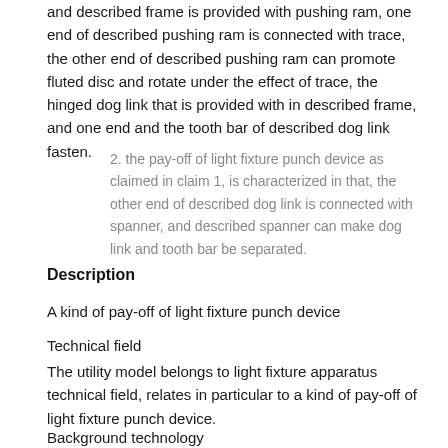and described frame is provided with pushing ram, one end of described pushing ram is connected with trace, the other end of described pushing ram can promote fluted disc and rotate under the effect of trace, the hinged dog link that is provided with in described frame, and one end and the tooth bar of described dog link fasten.
2. the pay-off of light fixture punch device as claimed in claim 1, is characterized in that, the other end of described dog link is connected with spanner, and described spanner can make dog link and tooth bar be separated.
Description
A kind of pay-off of light fixture punch device
Technical field
The utility model belongs to light fixture apparatus technical field, relates in particular to a kind of pay-off of light fixture punch device.
Background technology